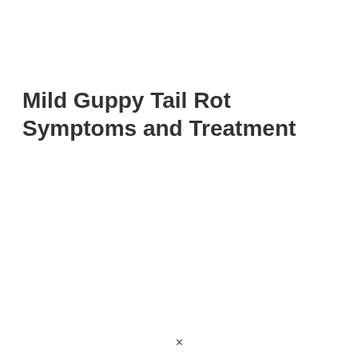Mild Guppy Tail Rot Symptoms and Treatment